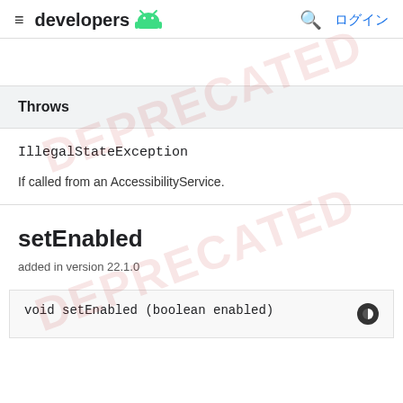≡ developers [android icon] 🔍 ログイン
Throws
IllegalStateException
If called from an AccessibilityService.
setEnabled
added in version 22.1.0
void setEnabled (boolean enabled)